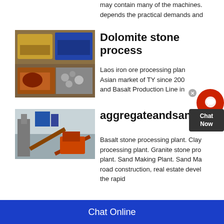may contain many of the machines. depends the practical demands and
Dolomite stone process
[Figure (photo): Industrial mining/crushing equipment and machinery at a quarry site, composite of two photos showing yellow and blue heavy equipment on dirt terrain and a red crusher with stone aggregate]
Laos iron ore processing plant. Asian market of TY since 200. and Basalt Production Line in
aggregateandsandplant
[Figure (photo): Industrial aggregate processing plant with orange and red machinery, conveyor belts and silos at a construction site]
Basalt stone processing plant. Clay processing plant. Granite stone plant. Sand Making Plant. Sand Ma road construction, real estate devel the rapid
Chat Online